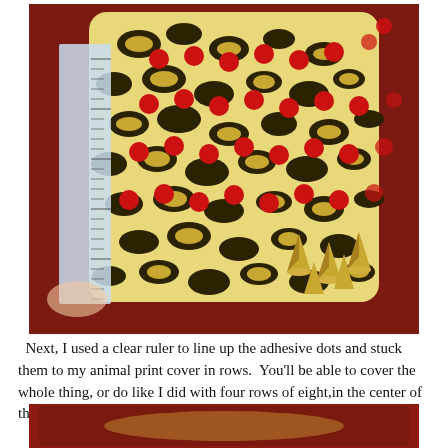[Figure (photo): A leopard-print phone case with red adhesive dots arranged in rows and gold spike studs, held against a clear ruler on a red surface.]
Next, I used a clear ruler to line up the adhesive dots and stuck them to my animal print cover in rows.  You'll be able to cover the whole thing, or do like I did with four rows of eight,in the center of the phone.  The 1/4" dots fit the bottoms of the studs perfectly.
[Figure (photo): Partial view of another step photo, cropped at bottom of page.]